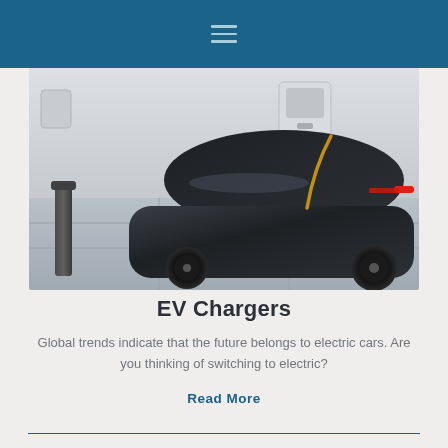Navigation menu (hamburger icon)
[Figure (photo): Electric vehicle being charged at a modern charging station. A sleek dark futuristic car is plugged in with a gold/orange cable, set in a minimalist white garage with tiled floor and a bollard visible on the left.]
EV Chargers
Global trends indicate that the future belongs to electric cars. Are you thinking of switching to electric?
Read More